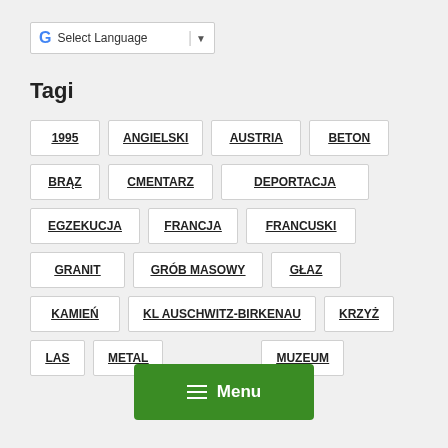[Figure (screenshot): Google Translate / Select Language widget with G logo, text, separator and dropdown arrow]
Tagi
1995
ANGIELSKI
AUSTRIA
BETON
BRĄZ
CMENTARZ
DEPORTACJA
EGZEKUCJA
FRANCJA
FRANCUSKI
GRANIT
GRÓB MASOWY
GŁAZ
KAMIEŃ
KL AUSCHWITZ-BIRKENAU
KRZYŻ
LAS
METAL
MUZEUM
[Figure (screenshot): Green Menu button with hamburger icon and Menu text label]